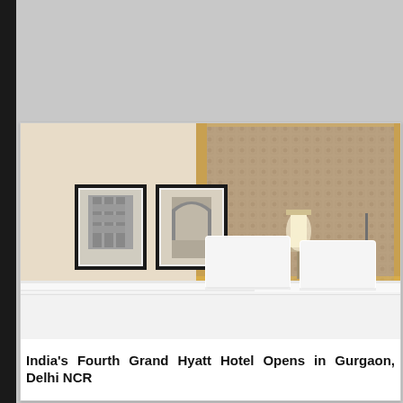[Figure (photo): Hotel room interior showing a neatly made bed with white linens and pillows, a tall upholstered headboard with decorative patterned panel, two black-framed photographs on the wall, a wall-mounted lamp, and a wooden nightstand with a telephone.]
India's Fourth Grand Hyatt Hotel Opens in Gurgaon, Delhi NCR